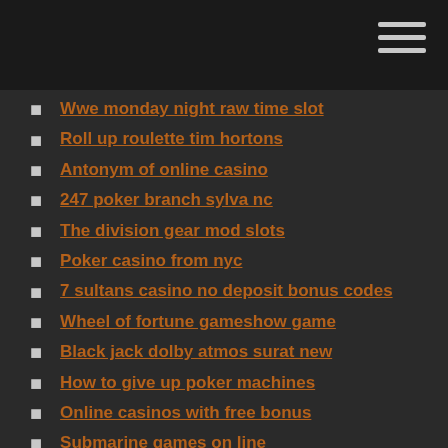Wwe monday night raw time slot
Roll up roulette tim hortons
Antonym of online casino
247 poker branch sylva nc
The division gear mod slots
Poker casino from nyc
7 sultans casino no deposit bonus codes
Wheel of fortune gameshow game
Black jack dolby atmos surat new
How to give up poker machines
Online casinos with free bonus
Submarine games on line
River vale pta casino night
Torin 12 ton black jack